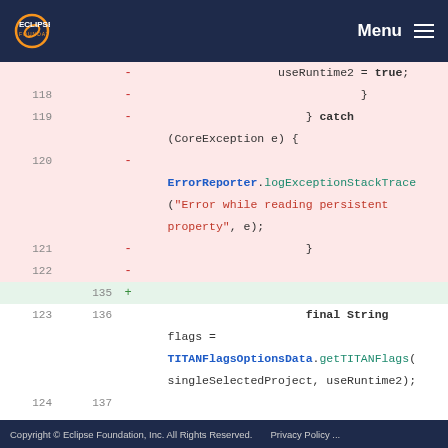Eclipse Foundation — Menu
[Figure (screenshot): Code diff view showing lines 118-125 (old) and 135-138 (new) of Java source code. Deleted lines (pink background) show a try-catch block with ErrorReporter.logExceptionStackTrace call. Added line 135 (green background) is empty. Neutral lines show final String flags = TITANFlagsOptionsData.getTITANFlags(singleSelectedProject, useRuntime2); and command.add('-' + SEMANTIC_CHECK_FLAG + " " + flags); and closing brace.]
Copyright © Eclipse Foundation, Inc. All Rights Reserved.    Privacy Policy ...